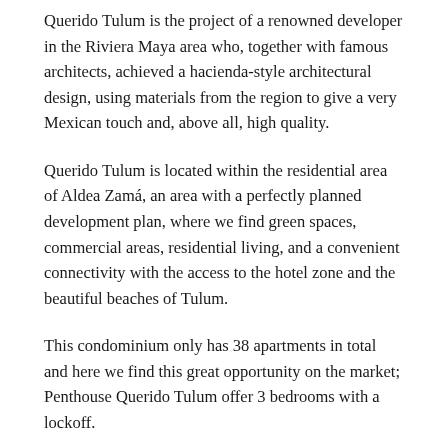Querido Tulum is the project of a renowned developer in the Riviera Maya area who, together with famous architects, achieved a hacienda-style architectural design, using materials from the region to give a very Mexican touch and, above all, high quality.
Querido Tulum is located within the residential area of Aldea Zamá, an area with a perfectly planned development plan, where we find green spaces, commercial areas, residential living, and a convenient connectivity with the access to the hotel zone and the beautiful beaches of Tulum.
This condominium only has 38 apartments in total and here we find this great opportunity on the market; Penthouse Querido Tulum offer 3 bedrooms with a lockoff.